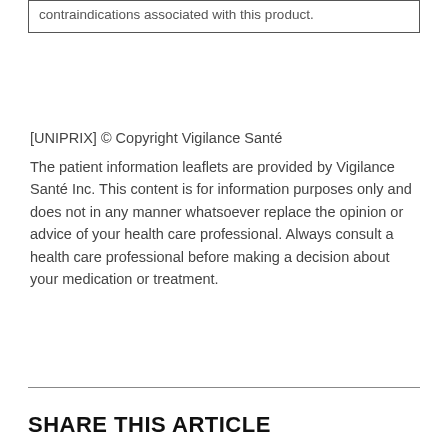contraindications associated with this product.
[UNIPRIX] © Copyright Vigilance Santé
The patient information leaflets are provided by Vigilance Santé Inc. This content is for information purposes only and does not in any manner whatsoever replace the opinion or advice of your health care professional. Always consult a health care professional before making a decision about your medication or treatment.
SHARE THIS ARTICLE